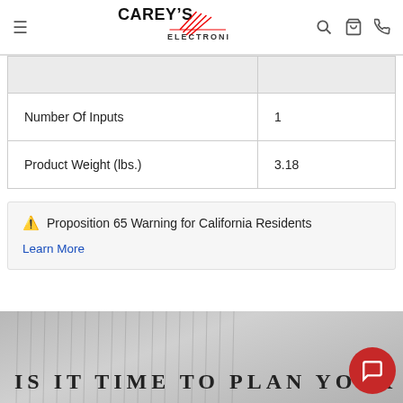Carey's Electronics — site header with navigation icons
|  |  |
| --- | --- |
|  |  |
| Number Of Inputs | 1 |
| Product Weight (lbs.) | 3.18 |
⚠ Proposition 65 Warning for California Residents
Learn More
[Figure (photo): Decorative background banner image with text 'IS IT TIME TO PLAN YOUR']